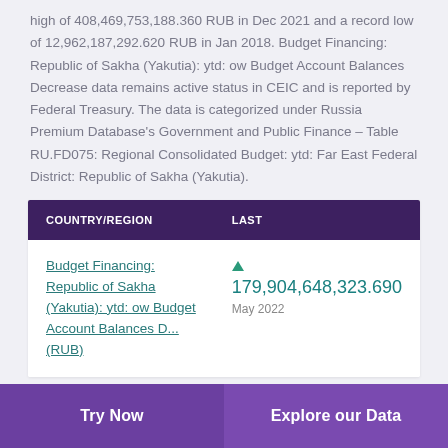high of 408,469,753,188.360 RUB in Dec 2021 and a record low of 12,962,187,292.620 RUB in Jan 2018. Budget Financing: Republic of Sakha (Yakutia): ytd: ow Budget Account Balances Decrease data remains active status in CEIC and is reported by Federal Treasury. The data is categorized under Russia Premium Database's Government and Public Finance – Table RU.FD075: Regional Consolidated Budget: ytd: Far East Federal District: Republic of Sakha (Yakutia).
| COUNTRY/REGION | LAST |
| --- | --- |
| Budget Financing: Republic of Sakha (Yakutia): ytd: ow Budget Account Balances D... (RUB) | ▲ 179,904,648,323.690
May 2022 |
Try Now   Explore our Data